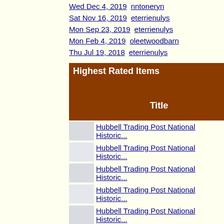Wed Dec 4, 2019  nntoneryn
Sat Nov 16, 2019  eterrienulys
Mon Sep 23, 2019  eterrienulys
Mon Feb 4, 2019  oleetwoodbarn
Thu Jul 19, 2018  eterrienulys
Highest Rated Items
|  | Title |
| --- | --- |
|  | Hubbell Trading Post National Historic... |
|  | Hubbell Trading Post National Historic... |
|  | Hubbell Trading Post National Historic... |
|  | Hubbell Trading Post National Historic... |
|  | Hubbell Trading Post National Historic... |
|  | Hubbell Trading Post National Historic... |
|  | Hubbell Trading Post National Historic... |
|  | Hubbell Trading Post National Historic... |
|  | Hubbell Trading Post National Historic... |
More Items...